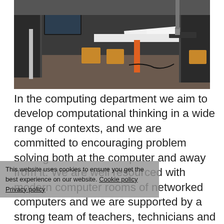[Figure (photo): Photograph of a school computer room showing desks with computers, chairs, and equipment arranged in a classroom setting with dark partitions/screens between workstations.]
In the computing department we aim to develop computational thinking in a wide range of contexts, and we are committed to encouraging problem solving both at the computer and away from it. We are well resourced with modern computer rooms of networked computers and we are supported by a strong team of teachers, technicians and learning technicians. We encourage boys to develop confidence and become independent learners, able to work safely and use
This website uses cookies to ensure you get the best experience on our website. Cookie policy
Privacy policy